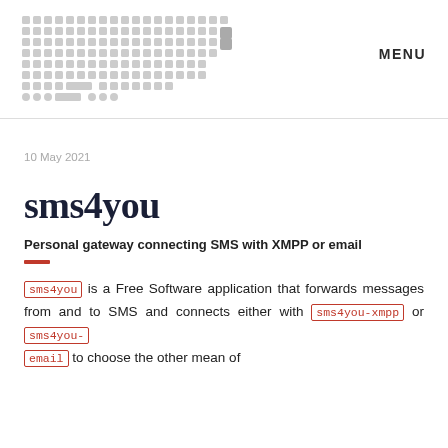MENU
[Figure (logo): Dot grid pattern logo made of small squares arranged in rows]
10 May 2021
sms4you
Personal gateway connecting SMS with XMPP or email
sms4you is a Free Software application that forwards messages from and to SMS and connects either with sms4you-xmpp or sms4you-email to choose the other mean of